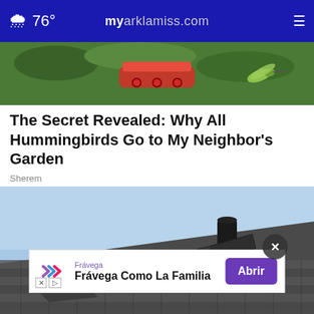76° myarklamiss.com
[Figure (photo): Close-up photo of hummingbirds at a red feeder with green foliage background]
The Secret Revealed: Why All Hummingbirds Go to My Neighbor's Garden
Sherem
[Figure (photo): Damaged roof shingles with a vent, showing lifted and torn shingles against a blue sky]
[Figure (infographic): Advertisement banner for Frávega: 'Frávega Como La Familia' with Abrir button]